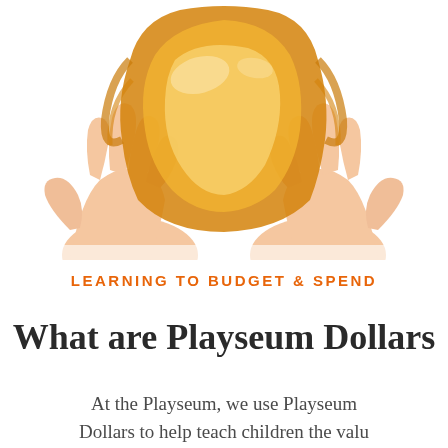[Figure (photo): Two child hands holding and stretching a large piece of golden/amber colored slime against a white background]
LEARNING TO BUDGET & SPEND
What are Playseum Dollars
At the Playseum, we use Playseum Dollars to help teach children the valu